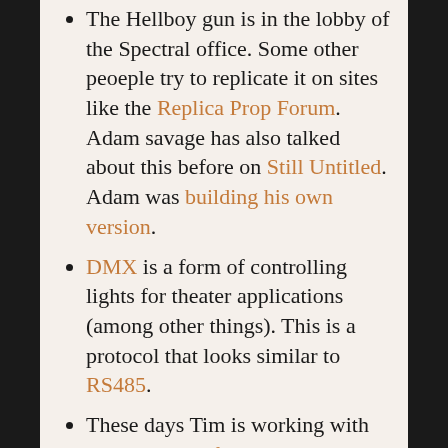The Hellboy gun is in the lobby of the Spectral office. Some other peoeple try to replicate it on sites like the Replica Prop Forum. Adam savage has also talked about this before on Still Untitled. Adam was building his own version.
DMX is a form of controlling lights for theater applications (among other things). This is a protocol that looks similar to RS485.
These days Tim is working with an Jordan Wolfson, an artist. He has had famous pieces on display in the past, including this super creepy "stripper robot"
Tim also performs "chip tune" music